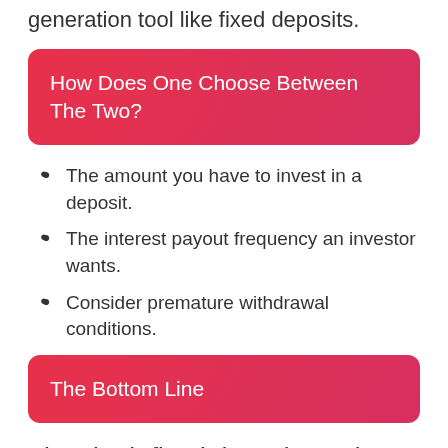generation tool like fixed deposits.
How Does One Choose Between The Two?
The amount you have to invest in a deposit.
The interest payout frequency an investor wants.
Consider premature withdrawal conditions.
The Bottom Line
Thus both fixed deposits and recurring deposits help you to save and the choice depends on your financial position and